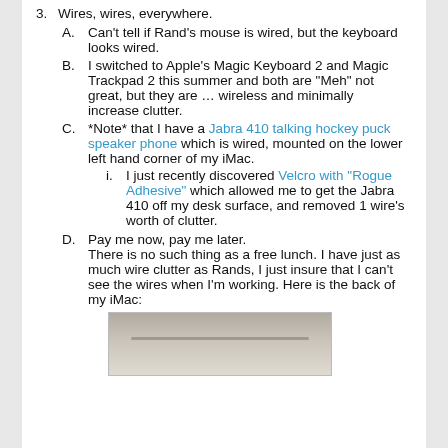3. Wires, wires, everywhere.
A. Can't tell if Rand's mouse is wired, but the keyboard looks wired.
B. I switched to Apple's Magic Keyboard 2 and Magic Trackpad 2 this summer and both are "Meh" not great, but they are … wireless and minimally increase clutter.
C. *Note* that I have a Jabra 410 talking hockey puck speaker phone which is wired, mounted on the lower left hand corner of my iMac.
i. I just recently discovered Velcro with "Rogue Adhesive" which allowed me to get the Jabra 410 off my desk surface, and removed 1 wire's worth of clutter.
D. Pay me now, pay me later. There is no such thing as a free lunch. I have just as much wire clutter as Rands, I just insure that I can't see the wires when I'm working. Here is the back of my iMac:
[Figure (photo): Photo of the back of an iMac showing wires/cables]